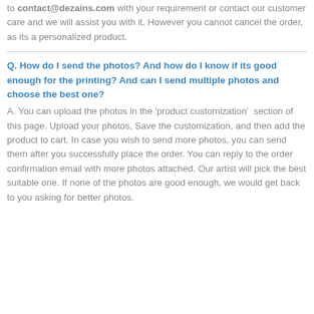to contact@dezains.com with your requirement or contact our customer care and we will assist you with it. However you cannot cancel the order, as its a personalized product.
Q. How do I send the photos? And how do I know if its good enough for the printing? And can I send multiple photos and choose the best one?
A. You can upload the photos in the 'product customization'  section of this page. Upload your photos, Save the customization, and then add the product to cart. In case you wish to send more photos, you can send them after you successfully place the order. You can reply to the order confirmation email with more photos attached. Our artist will pick the best suitable one. If none of the photos are good enough, we would get back to you asking for better photos.